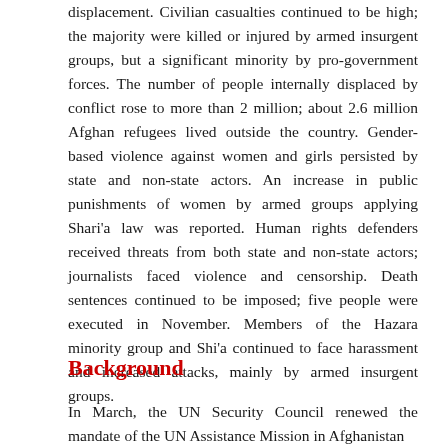displacement. Civilian casualties continued to be high; the majority were killed or injured by armed insurgent groups, but a significant minority by pro-government forces. The number of people internally displaced by conflict rose to more than 2 million; about 2.6 million Afghan refugees lived outside the country. Gender-based violence against women and girls persisted by state and non-state actors. An increase in public punishments of women by armed groups applying Shari'a law was reported. Human rights defenders received threats from both state and non-state actors; journalists faced violence and censorship. Death sentences continued to be imposed; five people were executed in November. Members of the Hazara minority group and Shi'a continued to face harassment and increased attacks, mainly by armed insurgent groups.
Background
In March, the UN Security Council renewed the mandate of the UN Assistance Mission in Afghanistan